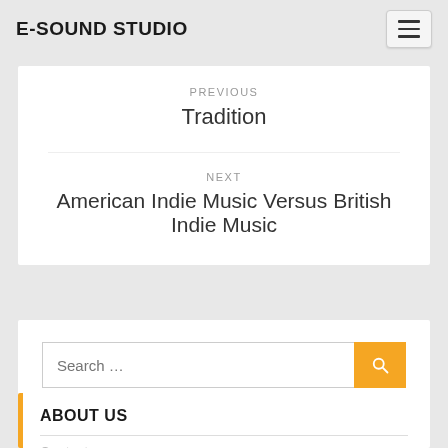E-SOUND STUDIO
PREVIOUS
Tradition
NEXT
American Indie Music Versus British Indie Music
Search …
ABOUT US
Contact us